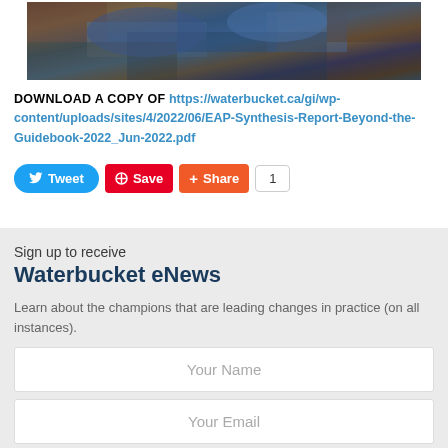[Figure (photo): Cropped photograph showing a textured surface with blue, brown, and dark mixed colors, partial view of a nature/geological image]
DOWNLOAD A COPY OF https://waterbucket.ca/gi/wp-content/uploads/sites/4/2022/06/EAP-Synthesis-Report-Beyond-the-Guidebook-2022_Jun-2022.pdf
Tweet  Save  Share  1
Sign up to receive
Waterbucket eNews
Learn about the champions that are leading changes in practice (on all instances).
Your Name
Your Email